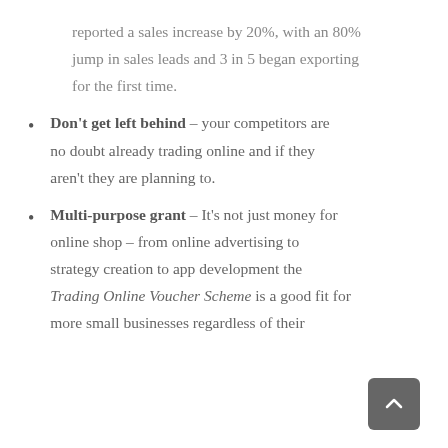reported a sales increase by 20%, with an 80% jump in sales leads and 3 in 5 began exporting for the first time.
Don't get left behind – your competitors are no doubt already trading online and if they aren't they are planning to.
Multi-purpose grant – It's not just money for online shop – from online advertising to strategy creation to app development the Trading Online Voucher Scheme is a good fit for more small businesses regardless of their